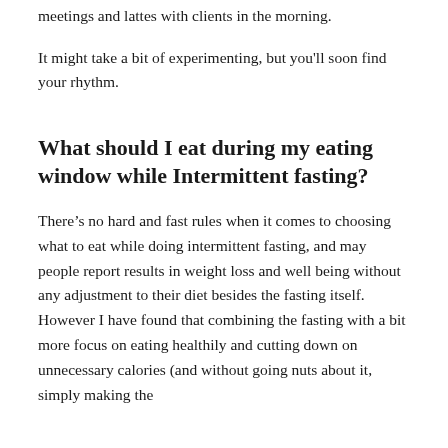meetings and lattes with clients in the morning.
It might take a bit of experimenting, but you'll soon find your rhythm.
What should I eat during my eating window while Intermittent fasting?
There’s no hard and fast rules when it comes to choosing what to eat while doing intermittent fasting, and may people report results in weight loss and well being without any adjustment to their diet besides the fasting itself. However I have found that combining the fasting with a bit more focus on eating healthily and cutting down on unnecessary calories (and without going nuts about it, simply making the